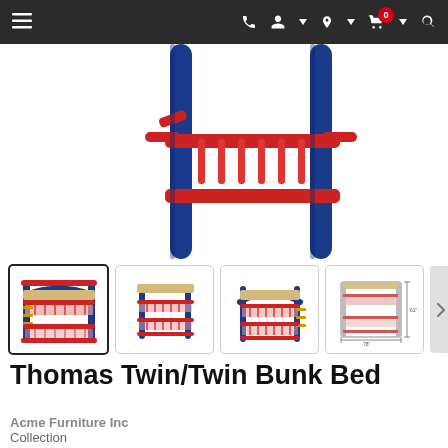Navigation bar with menu, phone, user, location, cart (0), search icons
[Figure (photo): Main product image: overhead/close-up view of a blue and red metal twin/twin bunk bed frame showing the red rails and blue posts/legs]
[Figure (photo): Thumbnail 1 (active/selected): angled front view of blue and red metal bunk bed]
[Figure (photo): Thumbnail 2: straight front view of blue and red metal bunk bed]
[Figure (photo): Thumbnail 3: side/angled view of blue and red metal bunk bed]
[Figure (photo): Thumbnail 4: dimension drawing of the bunk bed with measurements]
Thomas Twin/Twin Bunk Bed
Acme Furniture Inc
Collection